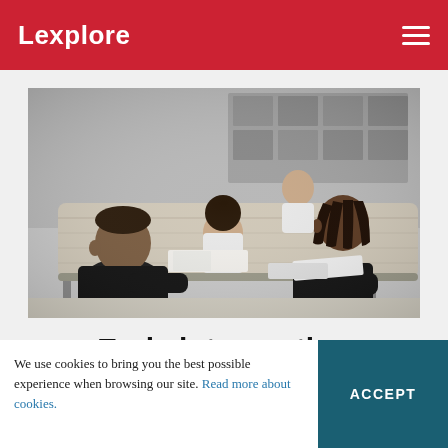Lexplore
[Figure (photo): Black and white photograph of children sitting around a classroom table, reading and writing. A boy in a dark hoodie sits in the foreground on the left, and a girl with braids in a dark long-sleeve shirt sits on the right. Other children are visible in the background working at the same table.]
Early intervention
Both schools and pupils benefit…
We use cookies to bring you the best possible experience when browsing our site. Read more about cookies.